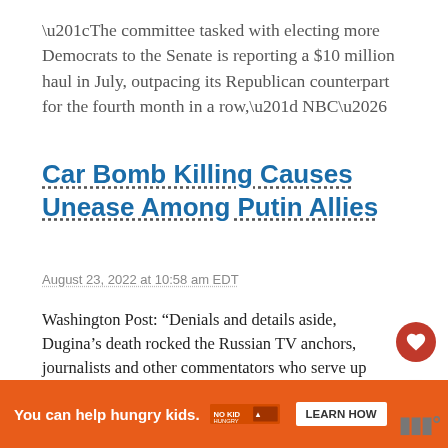“The committee tasked with electing more Democrats to the Senate is reporting a $10 million haul in July, outpacing its Republican counterpart for the fourth month in a row,” NBC…
Car Bomb Killing Causes Unease Among Putin Allies
August 23, 2022 at 10:58 am EDT
Washington Post: “Denials and details aside, Dugina’s death rocked the Russian TV anchors, journalists and other commentators who serve up propaganda justifying President Vladimir Putin’s invasion as a war against..
Joe Manchin Is Least Popular Figure In...